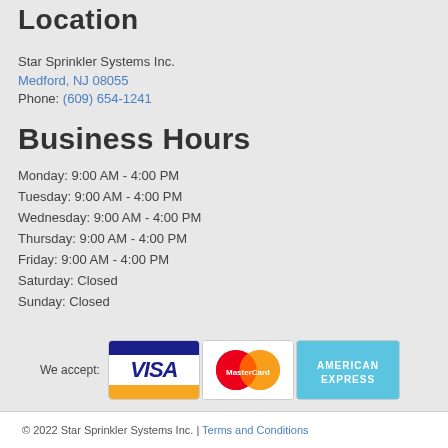Location
Star Sprinkler Systems Inc.
Medford, NJ 08055
Phone: (609) 654-1241
Business Hours
Monday: 9:00 AM - 4:00 PM
Tuesday: 9:00 AM - 4:00 PM
Wednesday: 9:00 AM - 4:00 PM
Thursday: 9:00 AM - 4:00 PM
Friday: 9:00 AM - 4:00 PM
Saturday: Closed
Sunday: Closed
[Figure (logo): Payment method logos: Visa, MasterCard, American Express]
© 2022 Star Sprinkler Systems Inc. | Terms and Conditions